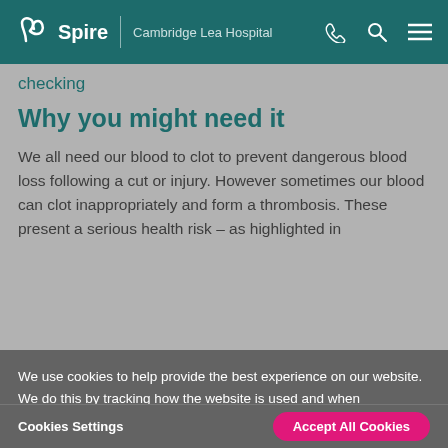Spire | Cambridge Lea Hospital
checking
Why you might need it
We all need our blood to clot to prevent dangerous blood loss following a cut or injury. However sometimes our blood can clot inappropriately and form a thrombosis. These present a serious health risk – as highlighted in
We use cookies to help provide the best experience on our website. We do this by tracking how the website is used and when appropriate remembering your preferences. By clicking "Accept All Cookies", you agree to the storing of cookies on your device to enhance site navigation, analyze site usage, and assist in our marketing efforts. Read our privacy and cookie policy
Cookies Settings | Accept All Cookies